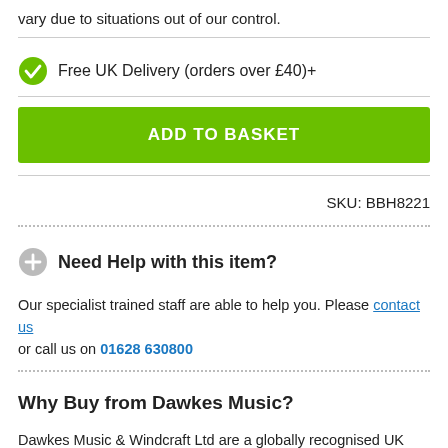vary due to situations out of our control.
Free UK Delivery (orders over £40)+
ADD TO BASKET
SKU: BBH8221
Need Help with this item?
Our specialist trained staff are able to help you. Please contact us or call us on 01628 630800
Why Buy from Dawkes Music?
Dawkes Music & Windcraft Ltd are a globally recognised UK based